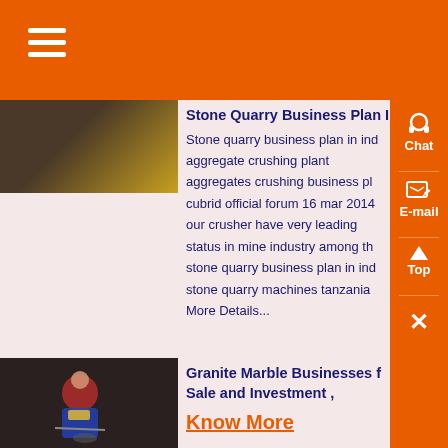[Figure (photo): Dark image of stone/quarry machinery, partially visible at top of first article]
Stone Quarry Business Plan In In Stone quarry business plan in ind aggregate crushing plant aggregates crushing business pl cubrid official forum 16 mar 2014 our crusher have very leading status in mine industry among th stone quarry business plan in ind stone quarry machines tanzania More Details...
[Figure (photo): Photo of a worker in blue and yellow vest working in a granite/marble setting]
Granite Marble Businesses f Sale and Investment ,
Know More